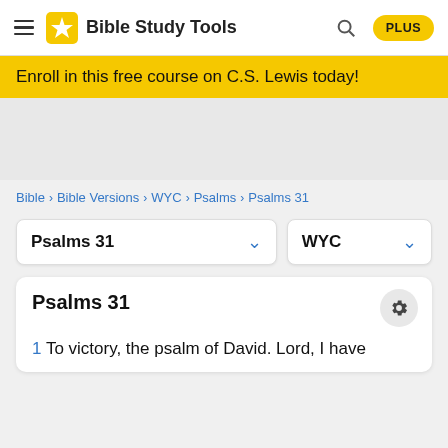Bible Study Tools  PLUS
Enroll in this free course on C.S. Lewis today!
Bible > Bible Versions > WYC > Psalms > Psalms 31
Psalms 31  WYC
Psalms 31
1 To victory, the psalm of David. Lord, I have